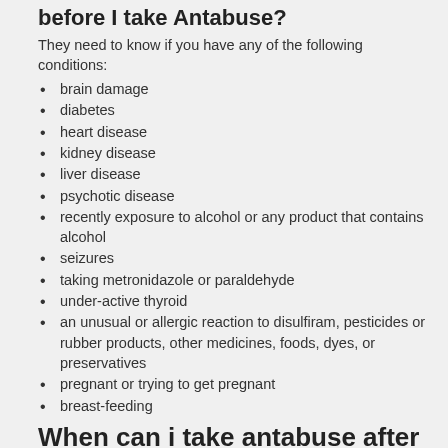before I take Antabuse?
They need to know if you have any of the following conditions:
brain damage
diabetes
heart disease
kidney disease
liver disease
psychotic disease
recently exposure to alcohol or any product that contains alcohol
seizures
taking metronidazole or paraldehyde
under-active thyroid
an unusual or allergic reaction to disulfiram, pesticides or rubber products, other medicines, foods, dyes, or preservatives
pregnant or trying to get pregnant
breast-feeding
When can i take antabuse after drinking
Learn about when can i take antabuse after drinking CHDs and about Caden, a child living with a heart defect. Clean hands can protect you from serious